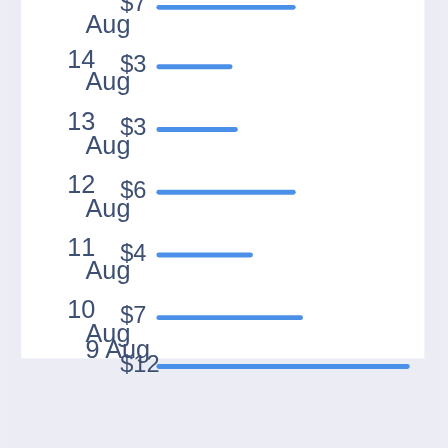[Figure (bar-chart): Daily spending by date]